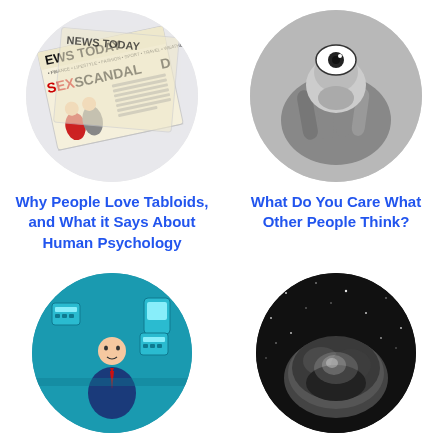[Figure (illustration): Circular image of a tabloid newspaper with headline 'SEX SCANDAL' and 'NEWS TODAY', showing illustrated people in a scandal scene]
[Figure (photo): Circular black and white photo of a surreal sculpture or figure with a large eye, appearing to be made of stone or clay, holding something]
Why People Love Tabloids, and What it Says About Human Psychology
What Do You Care What Other People Think?
[Figure (illustration): Circular illustration of a business person at a desk with various office items on a teal/blue background, partially visible]
[Figure (photo): Circular black and white photo of a rocky or cosmic object with stars/light, partially visible at bottom right]